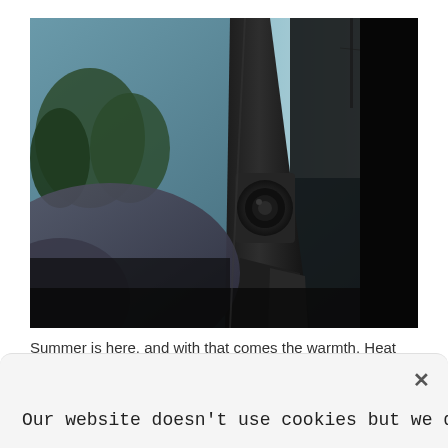[Figure (photo): Close-up interior shot of a vehicle, showing the steering wheel column, A-pillar, and a door hinge mechanism. Background shows trees and sky through the windshield. Dark, muted tones.]
Summer is here, and with that comes the warmth. Heat can make driving your automobile excruciating, which explains Packard introduced air conditioning in 1939. Currently and Starting in luxury automobiles expanding into every
Our website doesn't use cookies but we do